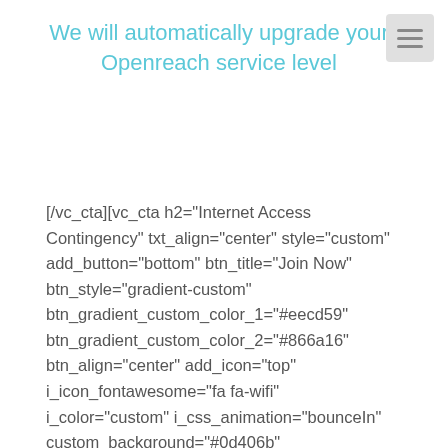We will automatically upgrade your Openreach service level
[/vc_cta][vc_cta h2="Internet Access Contingency" txt_align="center" style="custom" add_button="bottom" btn_title="Join Now" btn_style="gradient-custom" btn_gradient_custom_color_1="#eecd59" btn_gradient_custom_color_2="#866a16" btn_align="center" add_icon="top" i_icon_fontawesome="fa fa-wifi" i_color="custom" i_css_animation="bounceIn" custom_background="#0d406b" custom_text="#ffffff" i_custom_color="#c1b16d" css=".vc_custom_1536163251091{border-top-width: 2px !important;border-right-width: 2px !important;border-bottom-width: 2px !important;border-left-width: 2px !important;border-left-color: